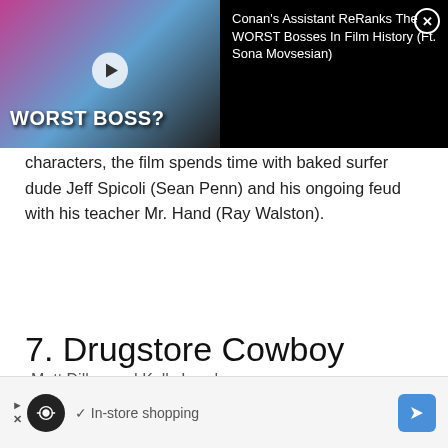[Figure (screenshot): Video overlay banner showing a thumbnail with two people and a man in glasses, text 'WORST BOSS?' on thumbnail, with title 'Conan's Assistant ReRanks The WORST Bosses In Film History (Ft. Sona Movsesian)' on black background, and a close (X) button.]
characters, the film spends time with baked surfer dude Jeff Spicoli (Sean Penn) and his ongoing feud with his teacher Mr. Hand (Ray Walston).
7. Drugstore Cowboy Matt Dillon and Kelly Lynch
[Figure (screenshot): Ad banner at the bottom showing a looping icon, checkmark, 'In-store shopping' text, and a blue navigation arrow icon.]